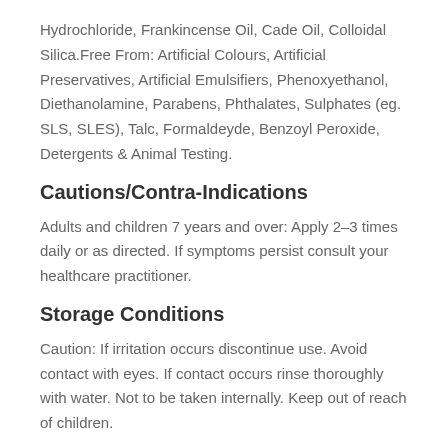Hydrochloride, Frankincense Oil, Cade Oil, Colloidal Silica.Free From: Artificial Colours, Artificial Preservatives, Artificial Emulsifiers, Phenoxyethanol, Diethanolamine, Parabens, Phthalates, Sulphates (eg. SLS, SLES), Talc, Formaldeyde, Benzoyl Peroxide, Detergents & Animal Testing.
Cautions/Contra-Indications
Adults and children 7 years and over: Apply 2–3 times daily or as directed. If symptoms persist consult your healthcare practitioner.
Storage Conditions
Caution: If irritation occurs discontinue use. Avoid contact with eyes. If contact occurs rinse thoroughly with water. Not to be taken internally. Keep out of reach of children.